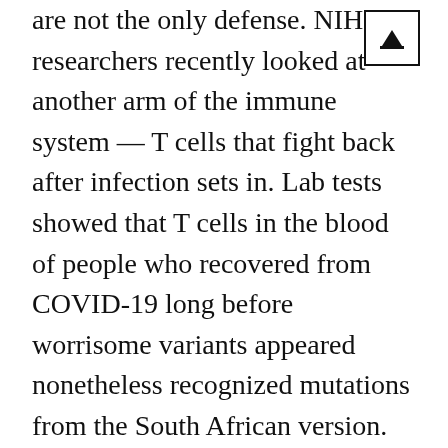are not the only defense. NIH researchers recently looked at another arm of the immune system — T cells that fight back after infection sets in. Lab tests showed that T cells in the blood of people who recovered from COVID-19 long before worrisome variants appeared nonetheless recognized mutations from the South African version. Vaccines trigger T cell production, too, and may be key to preventing the worst outcomes.Still, no vaccine is 100% effective. Even without the mutation threat, occasionally the fully vaccinated will get COVID-19. So how would authorities know an update is needed? And flu would be given as a...